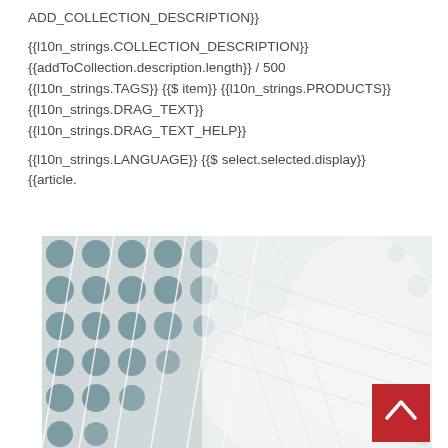ADD_COLLECTION_DESCRIPTION}}

{{l10n_strings.COLLECTION_DESCRIPTION}}
{{addToCollection.description.length}} / 500
{{l10n_strings.TAGS}} {{$ item}} {{l10n_strings.PRODUCTS}}
{{l10n_strings.DRAG_TEXT}}
{{l10n_strings.DRAG_TEXT_HELP}}

{{l10n_strings.LANGUAGE}} {{$ select.selected.display}}
{{article.
[Figure (photo): Close-up photo of a mesh/net-like white fabric material overlaid on top of a surface with circular grey/teal dots pattern. A scroll-to-top button (red square with white upward chevron) is visible in the bottom-right corner of the image.]